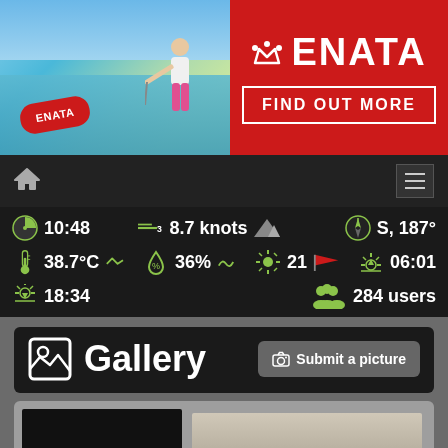[Figure (photo): ENATA advertisement banner. Left side shows a person standing in shallow water pulling a red ENATA-branded torpedo buoy with a rope. Right side is red background with ENATA logo (crown icon + ENATA text) and 'FIND OUT MORE' button.]
[Figure (screenshot): Navigation bar with home icon on left and hamburger menu icon on right, dark background.]
10:48   8.7 knots   S, 187°   38.7°C   36%   21   06:01   18:34   284 users
[Figure (screenshot): Gallery section header with image icon and 'Gallery' text on left, and 'Submit a picture' button on right.]
[Figure (photo): Bottom photo strip showing start of gallery images — a dark image on left and a lighter landscape image on right.]